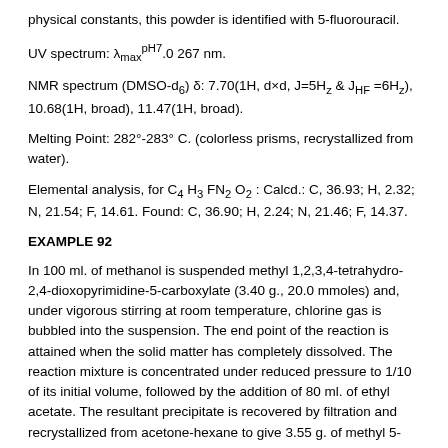physical constants, this powder is identified with 5-fluorouracil.
UV spectrum: λmax^pH7.0 267 nm.
NMR spectrum (DMSO-d6) δ: 7.70(1H, d×d, J=5Hz & JHF =6Hz), 10.68(1H, broad), 11.47(1H, broad).
Melting Point: 282°-283° C. (colorless prisms, recrystallized from water).
Elemental analysis, for C4 H3 FN2 O2 : Calcd.: C, 36.93; H, 2.32; N, 21.54; F, 14.61. Found: C, 36.90; H, 2.24; N, 21.46; F, 14.37.
EXAMPLE 92
In 100 ml. of methanol is suspended methyl 1,2,3,4-tetrahydro-2,4-dioxopyrimidine-5-carboxylate (3.40 g., 20.0 mmoles) and, under vigorous stirring at room temperature, chlorine gas is bubbled into the suspension. The end point of the reaction is attained when the solid matter has completely dissolved. The reaction mixture is concentrated under reduced pressure to 1/10 of its initial volume, followed by the addition of 80 ml. of ethyl acetate. The resultant precipitate is recovered by filtration and recrystallized from acetone-hexane to give 3.55 g. of methyl 5-chloro-6-methoxy-1,2,3,4,5,6-hexahydro-2,4-dioxopyrimidine-5-carboxylate as colorless needles.
Melting Point: 164°-166° C.